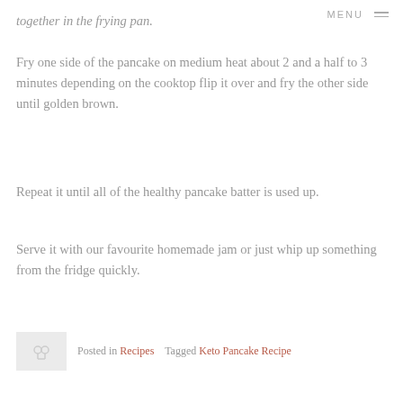MENU
together in the frying pan.
Fry one side of the pancake on medium heat about 2 and a half to 3 minutes depending on the cooktop flip it over and fry the other side until golden brown.
Repeat it until all of the healthy pancake batter is used up.
Serve it with our favourite homemade jam or just whip up something from the fridge quickly.
Posted in Recipes   Tagged Keto Pancake Recipe